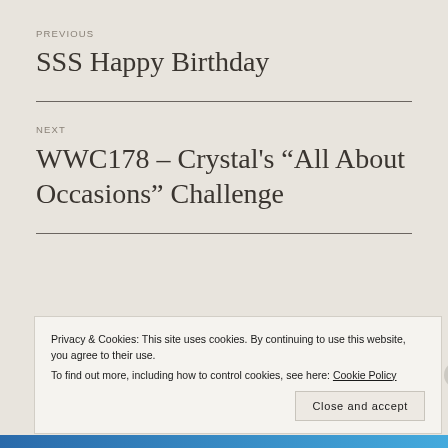PREVIOUS
SSS Happy Birthday
NEXT
WWC178 – Crystal’s “All About Occasions” Challenge
Privacy & Cookies: This site uses cookies. By continuing to use this website, you agree to their use.
To find out more, including how to control cookies, see here: Cookie Policy
Close and accept